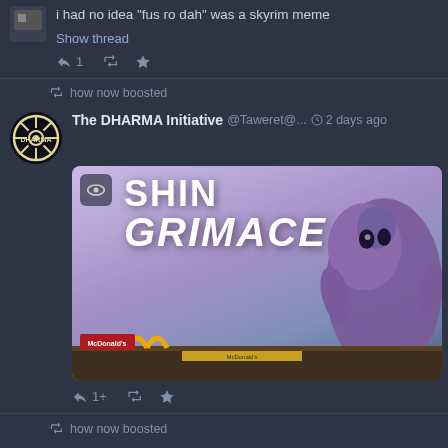i had no idea "fus ro dah" was a skyrim meme
Show thread
1
how now boosted
The DHARMA Initiative @Taweret@... 2 days ago
[Figure (photo): Meme image styled as a movie poster titled 'SHIN GRIMACE' showing a large purple blob creature (Grimace from McDonald's) looming over a McDonald's restaurant at dusk/twilight. The McDonald's golden arches and signs are visible at the bottom.]
1+
how now boosted